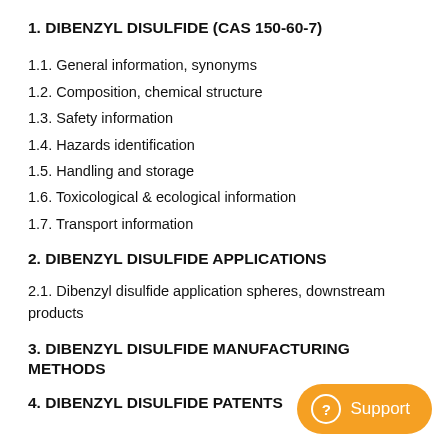1. DIBENZYL DISULFIDE (CAS 150-60-7)
1.1. General information, synonyms
1.2. Composition, chemical structure
1.3. Safety information
1.4. Hazards identification
1.5. Handling and storage
1.6. Toxicological & ecological information
1.7. Transport information
2. DIBENZYL DISULFIDE APPLICATIONS
2.1. Dibenzyl disulfide application spheres, downstream products
3. DIBENZYL DISULFIDE MANUFACTURING METHODS
4. DIBENZYL DISULFIDE PATENTS